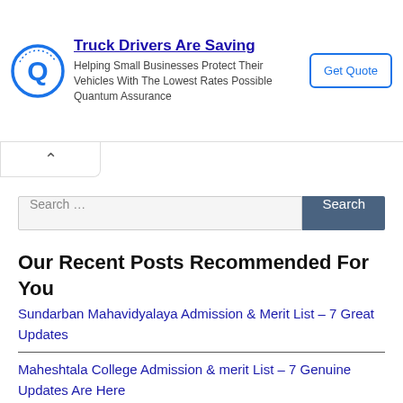[Figure (other): Advertisement banner: Quantum Assurance logo (blue Q circle), headline 'Truck Drivers Are Saving', body text 'Helping Small Businesses Protect Their Vehicles With The Lowest Rates Possible Quantum Assurance', and a 'Get Quote' button on the right.]
Search …
Our Recent Posts Recommended For You
Sundarban Mahavidyalaya Admission & Merit List – 7 Great Updates
Maheshtala College Admission & merit List – 7 Genuine Updates Are Here
Lalgarh Government College Admission & Merit List – 7 Excellent Updates Are Here